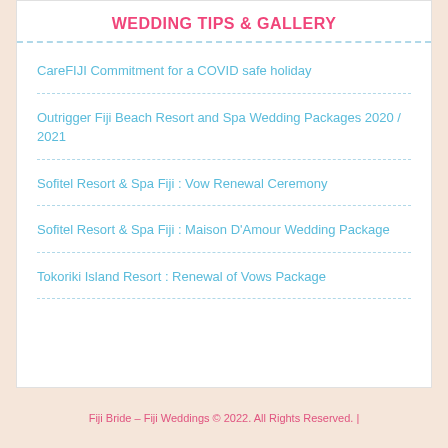WEDDING TIPS & GALLERY
CareFIJI Commitment for a COVID safe holiday
Outrigger Fiji Beach Resort and Spa Wedding Packages 2020 / 2021
Sofitel Resort & Spa Fiji : Vow Renewal Ceremony
Sofitel Resort & Spa Fiji : Maison D'Amour Wedding Package
Tokoriki Island Resort : Renewal of Vows Package
Fiji Bride – Fiji Weddings © 2022. All Rights Reserved. |